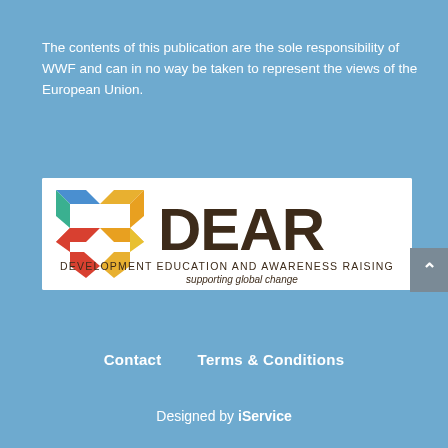The contents of this publication are the sole responsibility of WWF and can in no way be taken to represent the views of the European Union.
[Figure (logo): DEAR logo — Development Education and Awareness Raising, supporting global change. Features a colorful X-shaped mark on the left and bold dark brown text 'DEAR' on the right, with subtitle text below.]
Contact   Terms & Conditions
Designed by iService